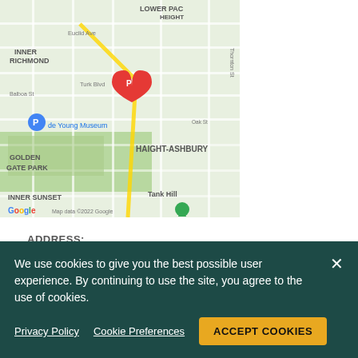[Figure (map): Google Maps screenshot showing area around 2250 Hayes Street, San Francisco. Shows neighborhoods: Inner Richmond, Lower Pacific Heights, Golden Gate Park, Haight-Ashbury, Inner Sunset, Tank Hill. Red parking pin marker visible. de Young Museum labeled. Map data ©2022 Google.]
ADDRESS:
2250 Hayes Street
Suite 204
San Francisco, CA 94117
View Map
(415) 933-9100
We use cookies to give you the best possible user experience. By continuing to use the site, you agree to the use of cookies.
Privacy Policy | Cookie Preferences | ACCEPT COOKIES